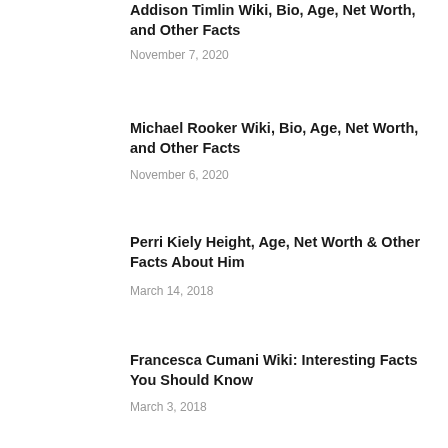Addison Timlin Wiki, Bio, Age, Net Worth, and Other Facts
November 7, 2020
Michael Rooker Wiki, Bio, Age, Net Worth, and Other Facts
November 6, 2020
Perri Kiely Height, Age, Net Worth & Other Facts About Him
March 14, 2018
Francesca Cumani Wiki: Interesting Facts You Should Know
March 3, 2018
Kristen Schaal Wiki, Bio, Age, Net Worth, and Other Facts
March 15, 2021